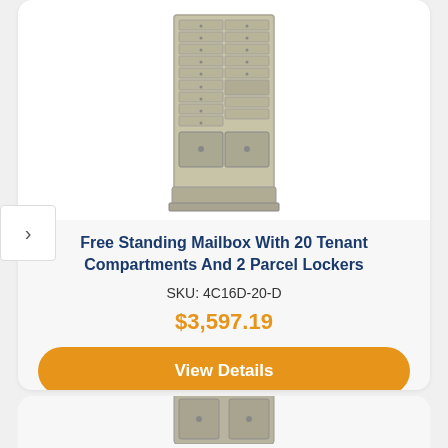[Figure (photo): Free standing mailbox unit with 20 tenant compartments and 2 parcel lockers, shown in a tan/beige finish]
Free Standing Mailbox With 20 Tenant Compartments And 2 Parcel Lockers
SKU: 4C16D-20-D
$3,597.19
View Details
[Figure (photo): Partial view of another mailbox unit at the bottom of the page]